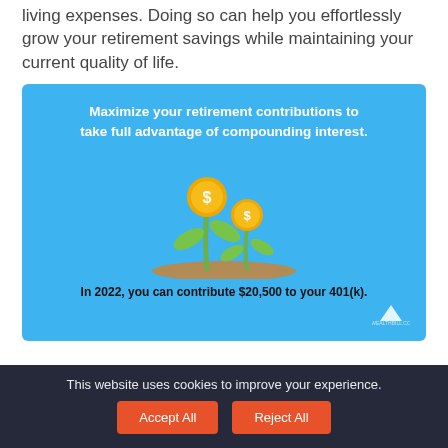living expenses. Doing so can help you effortlessly grow your retirement savings while maintaining your current quality of life.
[Figure (infographic): Blue infographic box with text 'Maximize your retirement contributions to take full advantage of compounding interest.' and an illustration of two money plants with dollar-coin flowers, and text 'In 2022, you can contribute $20,500 to your 401(k).']
This website uses cookies to improve your experience.
Accept All   Reject All